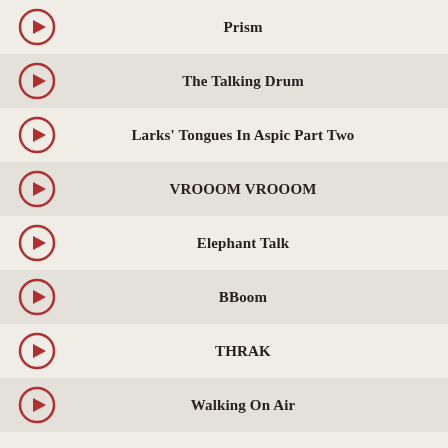Prism
The Talking Drum
Larks' Tongues In Aspic Part Two
VROOOM VROOOM
Elephant Talk
BBoom
THRAK
Walking On Air
[Figure (infographic): Two download icons side by side: black download arrow labeled PURCHASE SHOW and red download arrow labeled PURCHASE TOUR]